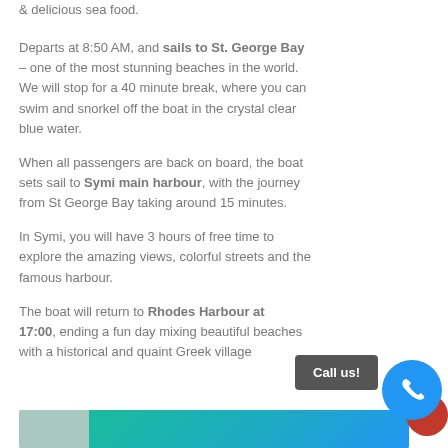& delicious sea food.

Departs at 8:50 AM, and sails to St. George Bay – one of the most stunning beaches in the world. We will stop for a 40 minute break, where you can swim and snorkel off the boat in the crystal clear blue water.

When all passengers are back on board, the boat sets sail to Symi main harbour, with the journey from St George Bay taking around 15 minutes.

In Symi, you will have 3 hours of free time to explore the amazing views, colorful streets and the famous harbour.

The boat will return to Rhodes Harbour at 17:00, ending a fun day mixing beautiful beaches with a historical and quaint Greek village
[Figure (photo): Bottom strip showing a photo thumbnail on left and a blue/teal sea image on right]